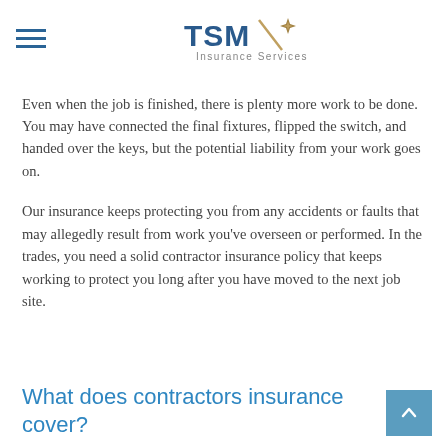TSM Insurance Services
Even when the job is finished, there is plenty more work to be done. You may have connected the final fixtures, flipped the switch, and handed over the keys, but the potential liability from your work goes on.
Our insurance keeps protecting you from any accidents or faults that may allegedly result from work you've overseen or performed. In the trades, you need a solid contractor insurance policy that keeps working to protect you long after you have moved to the next job site.
What does contractors insurance cover?